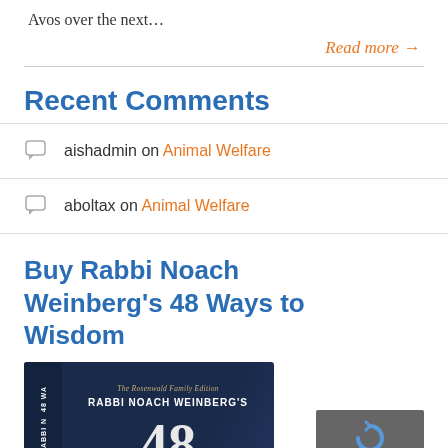Avos over the next…
Read more →
Recent Comments
aishadmin on Animal Welfare
aboltax on Animal Welfare
Buy Rabbi Noach Weinberg's 48 Ways to Wisdom
[Figure (photo): Book cover of Rabbi Noach Weinberg's 48 Ways to Wisdom, The Rosenwald Family Edition, showing the book spine labeled '48 WAYS' and the front cover with the author's name in white text on a dark navy background with large '48' numerals.]